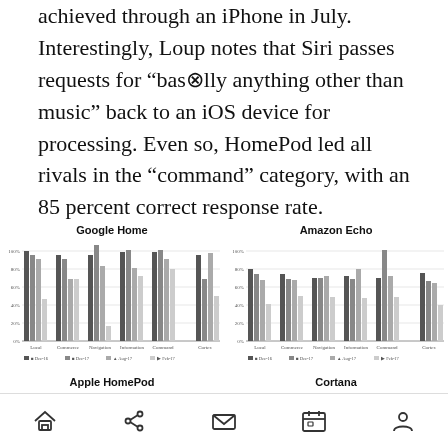achieved through an iPhone in July. Interestingly, Loup notes that Siri passes requests for “bas⊗lly anything other than music” back to an iOS device for processing. Even so, HomePod led all rivals in the “command” category, with an 85 percent correct response rate.
[Figure (grouped-bar-chart): Google Home]
[Figure (grouped-bar-chart): Amazon Echo]
[Figure (grouped-bar-chart): Apple HomePod]
[Figure (grouped-bar-chart): Cortana]